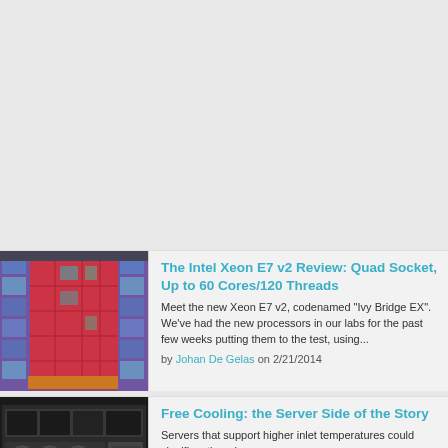[Figure (photo): CPU/processor die shot showing colorful silicon wafer with pink, purple, and teal circuit structures]
The Intel Xeon E7 v2 Review: Quad Socket, Up to 60 Cores/120 Threads
Meet the new Xeon E7 v2, codenamed "Ivy Bridge EX". We've had the new processors in our labs for the past few weeks putting them to the test, using...
by Johan De Gelas on 2/21/2014
[Figure (photo): Rack-mounted server chassis showing internal components, drive bays, and cooling fans in a 1U form factor]
Free Cooling: the Server Side of the Story
Servers that support higher inlet temperatures could significantly reduce or